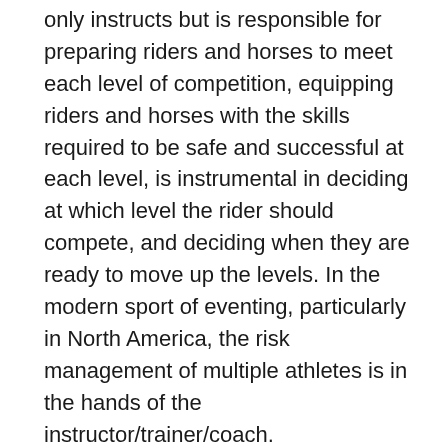only instructs but is responsible for preparing riders and horses to meet each level of competition, equipping riders and horses with the skills required to be safe and successful at each level, is instrumental in deciding at which level the rider should compete, and deciding when they are ready to move up the levels. In the modern sport of eventing, particularly in North America, the risk management of multiple athletes is in the hands of the instructor/trainer/coach.
Therefore, to meet the demands of change, one of the initial steps of that process has been to re-tool the ICP mission statement. The original mission statement did justice to the basic premise of accrediting instructors for the sport of eventing. However, what was created under that original premise is so much more than an accreditation process. What was created is a vast resource and